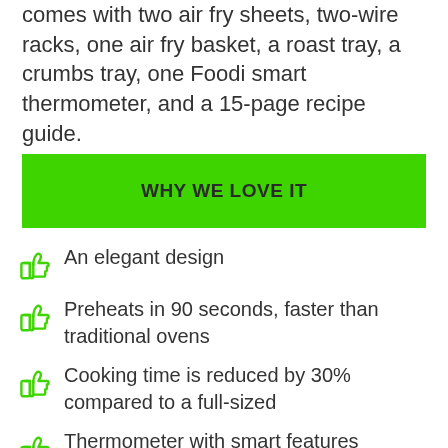comes with two air fry sheets, two-wire racks, one air fry basket, a roast tray, a crumbs tray, one Foodi smart thermometer, and a 15-page recipe guide.
WHY WE LOVE IT
An elegant design
Preheats in 90 seconds, faster than traditional ovens
Cooking time is reduced by 30% compared to a full-sized
Thermometer with smart features